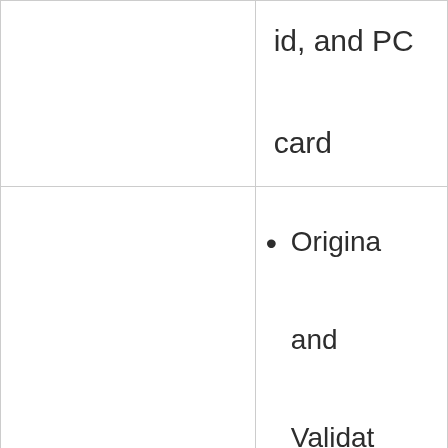|  | id, and PC card |
| Government: | • Original and Validat Emirat id and card |